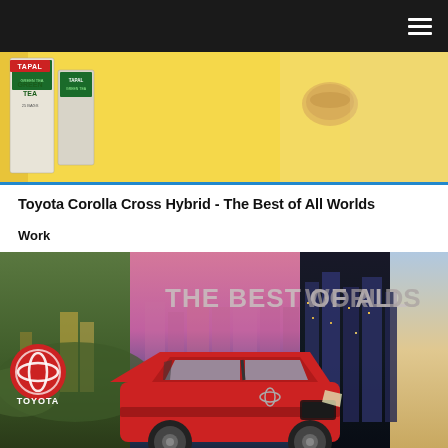[Figure (photo): Tapal Green Tea advertisement banner showing a person holding a glass cup of green tea with Tapal Green Tea product box against a yellow background]
Toyota Corolla Cross Hybrid - The Best of All Worlds
Work
[Figure (photo): Toyota Corolla Cross Hybrid advertisement showing the red SUV against a composite background with text 'THE BEST OF ALL WORLDS' and the Toyota logo]